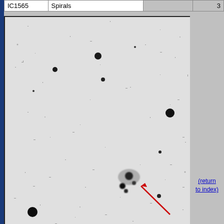| IC1565 | Spirals |  | 3 |
| --- | --- | --- | --- |
[Figure (photo): Astronomical survey image (grayscale) showing a spiral galaxy IC1565 with a red arrow pointing to it. Multiple stars visible as dark spots on light background. Image has dark border.]
(return to index)